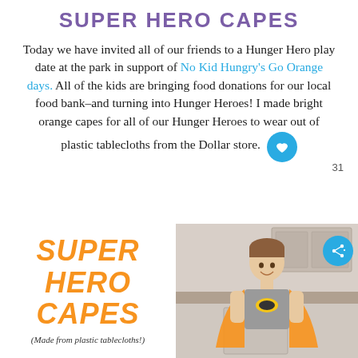SUPER HERO CAPES
Today we have invited all of our friends to a Hunger Hero play date at the park in support of No Kid Hungry's Go Orange days.  All of the kids are bringing food donations for our local food bank–and turning into Hunger Heroes!  I made bright orange capes for all of our Hunger Heroes to wear out of plastic tablecloths from the Dollar store.
[Figure (photo): Thumbnail image showing orange superhero cape text on white background with text 'SUPER HERO CAPES' in orange italic bold font, and a photo of a young boy wearing an orange cape over a Batman shirt, standing in a kitchen.]
(Made from plastic tablecloths!)